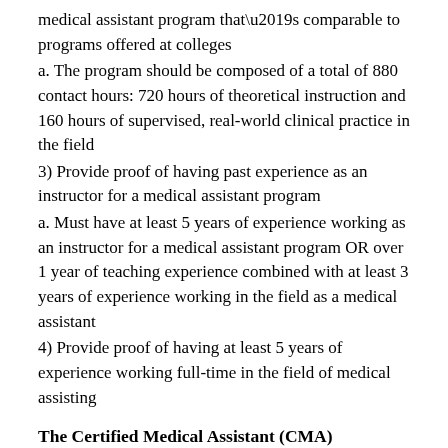medical assistant program that's comparable to programs offered at colleges
a. The program should be composed of a total of 880 contact hours: 720 hours of theoretical instruction and 160 hours of supervised, real-world clinical practice in the field
3) Provide proof of having past experience as an instructor for a medical assistant program
a. Must have at least 5 years of experience working as an instructor for a medical assistant program OR over 1 year of teaching experience combined with at least 3 years of experience working in the field as a medical assistant
4) Provide proof of having at least 5 years of experience working full-time in the field of medical assisting
The Certified Medical Assistant (CMA)
For individuals who’re aspiring to acquire the Certified Medical Assistant (CMA) credential, they’ll first need to pass the AAMA’s certification exam. In order to be eligible to sit for the certification exam, however, prospects will need to first